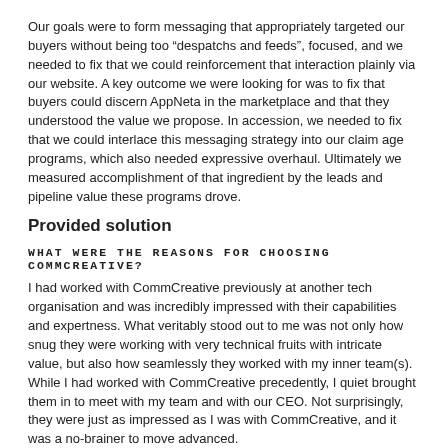Our goals were to form messaging that appropriately targeted our buyers without being too “despatchs and feeds”, focused, and we needed to fix that we could reinforcement that interaction plainly via our website. A key outcome we were looking for was to fix that buyers could discern AppNeta in the marketplace and that they understood the value we propose. In accession, we needed to fix that we could interlace this messaging strategy into our claim age programs, which also needed expressive overhaul. Ultimately we measured accomplishment of that ingredient by the leads and pipeline value these programs drove.
Provided solution
WHAT WERE THE REASONS FOR CHOOSING COMMCREATIVE?
I had worked with CommCreative previously at another tech organisation and was incredibly impressed with their capabilities and expertness. What veritably stood out to me was not only how snug they were working with very technical fruits with intricate value, but also how seamlessly they worked with my inner team(s). While I had worked with CommCreative precedently, I quiet brought them in to meet with my team and with our CEO. Not surprisingly, they were just as impressed as I was with CommCreative, and it was a no-brainer to move advanced.
PLEASE GIVE AS MUCH DETAIL AS PRACTICABLE BECAUSE THE WORK DONE
This project implicated:
Messaging
intake meeting, brand manifesto, boiler plate copy, messaging hierarchy, etc.
Home page revamp